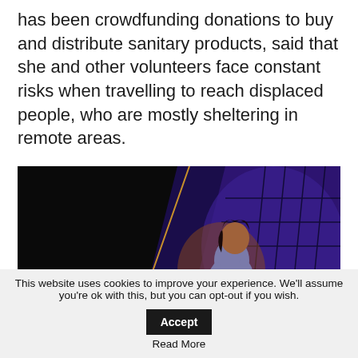has been crowdfunding donations to buy and distribute sanitary products, said that she and other volunteers face constant risks when travelling to reach displaced people, who are mostly sheltering in remote areas.
[Figure (illustration): An illustration of a person with dark hair, wearing a gray top and red clothing, appearing to be huddled or crouching. The background features a dark black left portion and a deep purple/blue right side with diagonal cross-hatch lines suggesting a fence or structural grid. A gold/orange diagonal line separates the two halves. The overall mood is dark and somber.]
This website uses cookies to improve your experience. We'll assume you're ok with this, but you can opt-out if you wish. Accept Read More